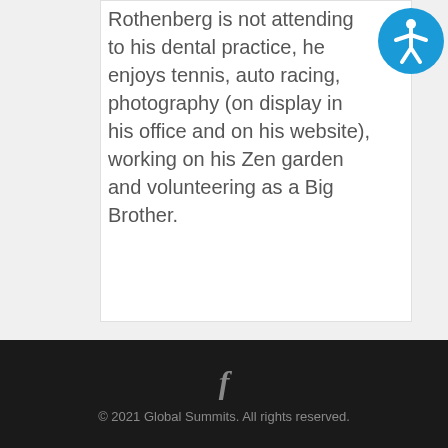Rothenberg is not attending to his dental practice, he enjoys tennis, auto racing, photography (on display in his office and on his website), working on his Zen garden and volunteering as a Big Brother.
[Figure (illustration): Accessibility icon — blue circle with white stylized human figure with arms outstretched]
f © 2021 Global Summits. All rights reserved.